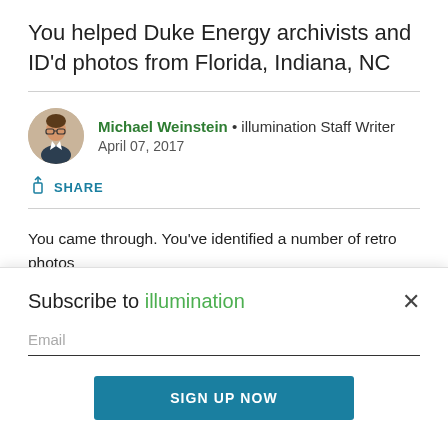You helped Duke Energy archivists and ID'd photos from Florida, Indiana, NC
Michael Weinstein • illumination Staff Writer
April 07, 2017
SHARE
You came through. You've identified a number of retro photos from the Duke Energy archives in Charlotte, N.C. Here are five
Subscribe to illumination
Email
SIGN UP NOW